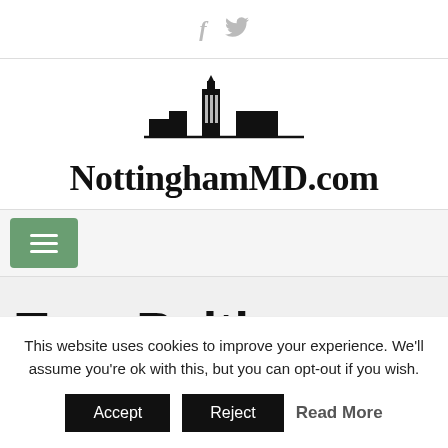[Figure (logo): Social media icons: Facebook (f) and Twitter (bird) in gray]
[Figure (logo): NottinghamMD.com website logo with skyline silhouette illustration above the text]
[Figure (other): Green hamburger menu button with three white horizontal lines]
Tag: Baltimore County
This website uses cookies to improve your experience. We'll assume you're ok with this, but you can opt-out if you wish.
Accept   Reject   Read More